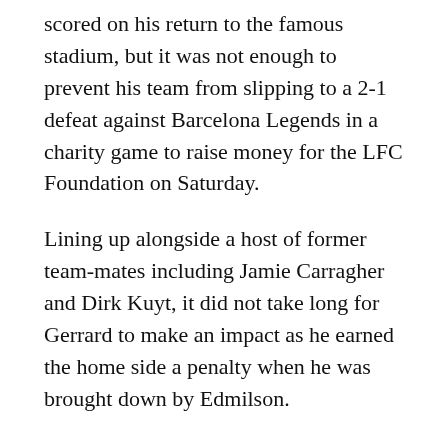scored on his return to the famous stadium, but it was not enough to prevent his team from slipping to a 2-1 defeat against Barcelona Legends in a charity game to raise money for the LFC Foundation on Saturday.
Lining up alongside a host of former team-mates including Jamie Carragher and Dirk Kuyt, it did not take long for Gerrard to make an impact as he earned the home side a penalty when he was brought down by Edmilson.